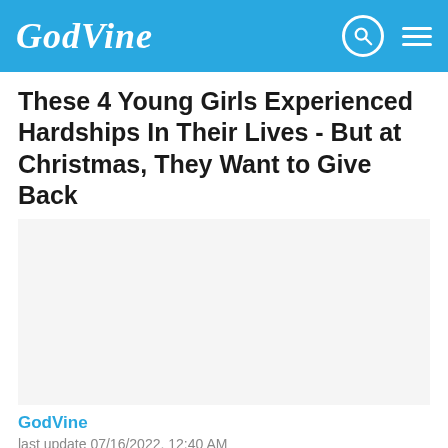GodVine
These 4 Young Girls Experienced Hardships In Their Lives - But at Christmas, They Want to Give Back
[Figure (photo): Article image placeholder (white/light gray area)]
GodVine
last update 07/16/2022, 12:40 AM
This year, six-year-old Hadleigh Parrish didn't want anything for